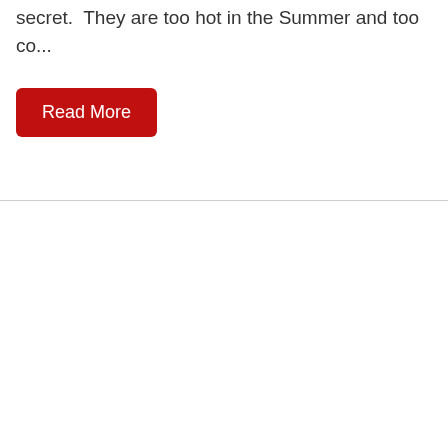secret.  They are too hot in the Summer and too co...
Read More